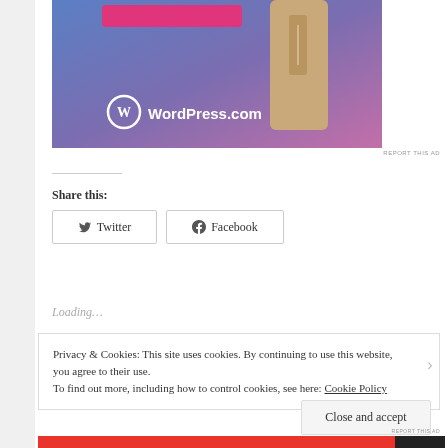[Figure (screenshot): WordPress.com advertisement banner with blue-purple gradient background, a pink/magenta button at top, a tan/beige rectangular shape (phone or device), and WordPress.com logo with text at bottom left.]
REPORT THIS AD
Share this:
Twitter
Facebook
Loading…
Privacy & Cookies: This site uses cookies. By continuing to use this website, you agree to their use.
To find out more, including how to control cookies, see here: Cookie Policy
Close and accept